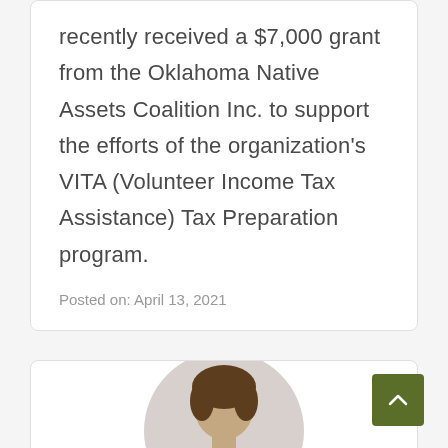recently received a $7,000 grant from the Oklahoma Native Assets Coalition Inc. to support the efforts of the organization's VITA (Volunteer Income Tax Assistance) Tax Preparation program.
Posted on: April 13, 2021
[Figure (photo): Portrait photo of a woman with brown hair, shown from shoulders up inside a circular crop, positioned in the lower card section of the page.]